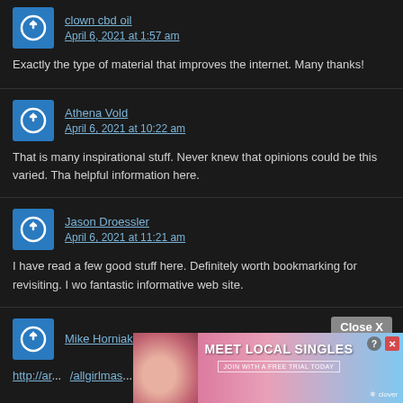clown cbd oil
April 6, 2021 at 1:57 am
Exactly the type of material that improves the internet. Many thanks!
Athena Vold
April 6, 2021 at 10:22 am
That is many inspirational stuff. Never knew that opinions could be this varied. Tha helpful information here.
Jason Droessler
April 6, 2021 at 11:21 am
I have read a few good stuff here. Definitely worth bookmarking for revisiting. I wo fantastic informative web site.
Mike Horniak
http://ar... /allgirlmas...
[Figure (other): Advertisement banner: MEET LOCAL SINGLES with a woman photo on the left, clover logo, Close X button, question mark and X icons]